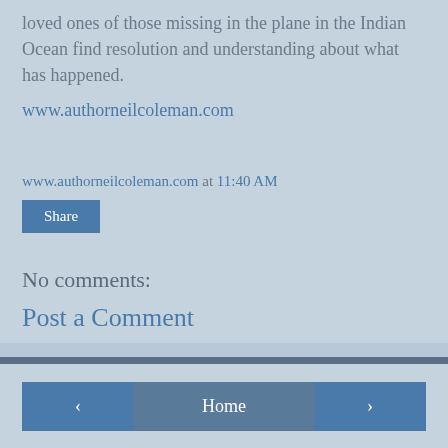loved ones of those missing in the plane in the Indian Ocean find resolution and understanding about what has happened.
www.authorneilcoleman.com
www.authorneilcoleman.com at 11:40 AM
Share
No comments:
Post a Comment
Powered by Blogger.